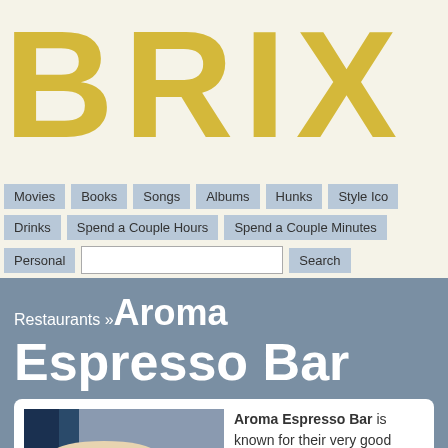BRIX
Movies | Books | Songs | Albums | Hunks | Style Ico... | Drinks | Spend a Couple Hours | Spend a Couple Minutes | Personal | Search
Restaurants » Aroma Espresso Bar
[Figure (photo): Food photo showing rolled crepes on a plate at Aroma Espresso Bar]
Aroma Espresso Bar is known for their very good coffee, but it's